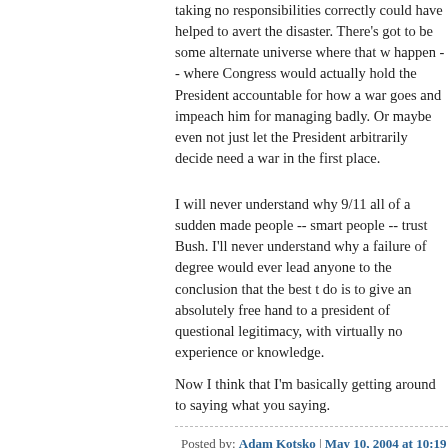taking no responsibilities correctly could have helped to avert the disaster. There's got to be some alternate universe where that would happen -- where Congress would actually hold the President accountable for how a war goes and impeach him for managing it badly. Or maybe even not just let the President arbitrarily decide we need a war in the first place.
I will never understand why 9/11 all of a sudden made people -- smart people -- trust Bush. I'll never understand why a failure of that degree would ever lead anyone to the conclusion that the best thing to do is to give an absolutely free hand to a president of questionable legitimacy, with virtually no experience or knowledge.
Now I think that I'm basically getting around to saying what you were saying.
Posted by: Adam Kotsko | May 10, 2004 at 10:19 AM
[Figure (illustration): Circular green avatar icon with sunburst/starburst pattern radiating outward from a central green circle, on white background]
Well, no. Clearly assassinations are not the answer. Keep in mind, they have been the problem. Nor is it necessarily the place of the legislature to hold an executive accountable when a war is going badly. Our justifiable wars at times went badly and it would have been disasterous had we not rededicated ourselves to winning them. The problem is that the war in Iraq was unnecessary, ill-conceived at the outset, badly managed throughout, and there is no limit strong enough